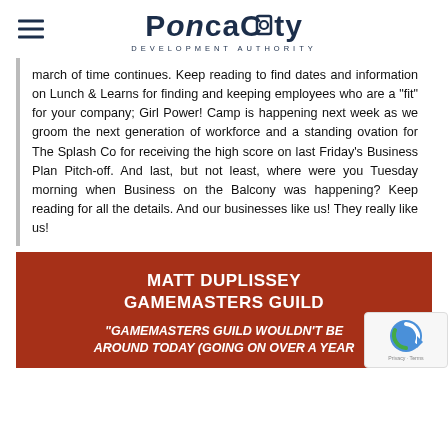PoncaCity DEVELOPMENT AUTHORITY
march of time continues. Keep reading to find dates and information on Lunch & Learns for finding and keeping employees who are a "fit" for your company; Girl Power! Camp is happening next week as we groom the next generation of workforce and a standing ovation for The Splash Co for receiving the high score on last Friday's Business Plan Pitch-off. And last, but not least, where were you Tuesday morning when Business on the Balcony was happening? Keep reading for all the details. And our businesses like us! They really like us!
MATT DUPLISSEY GAMEMASTERS GUILD
"GAMEMASTERS GUILD WOULDN'T BE AROUND TODAY (GOING ON OVER A YEAR